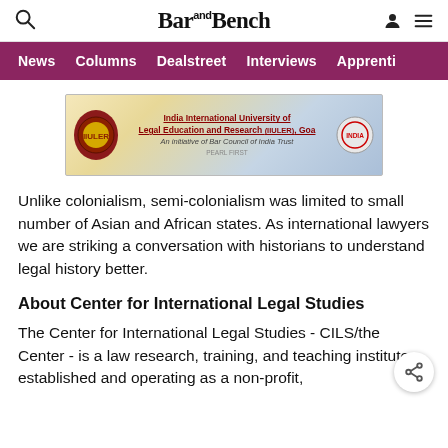Bar and Bench - Navigation header with search, logo, user, and menu icons
News | Columns | Dealstreet | Interviews | Apprenti
[Figure (illustration): Advertisement banner for India International University of Legal Education and Research (IIULER), Goa - An initiative of Bar Council of India Trust]
Unlike colonialism, semi-colonialism was limited to small number of Asian and African states. As international lawyers we are striking a conversation with historians to understand legal history better.
About Center for International Legal Studies
The Center for International Legal Studies - CILS/the Center - is a law research, training, and teaching institute, established and operating as a non-profit,